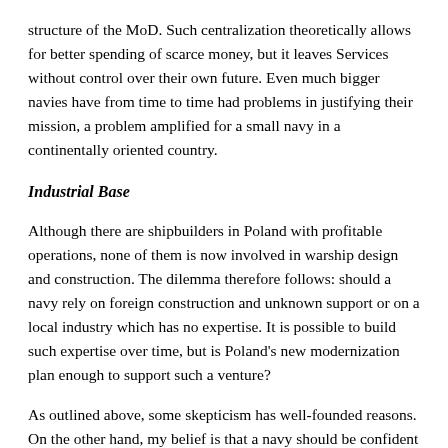structure of the MoD. Such centralization theoretically allows for better spending of scarce money, but it leaves Services without control over their own future. Even much bigger navies have from time to time had problems in justifying their mission, a problem amplified for a small navy in a continentally oriented country.
Industrial Base
Although there are shipbuilders in Poland with profitable operations, none of them is now involved in warship design and construction. The dilemma therefore follows: should a navy rely on foreign construction and unknown support or on a local industry which has no expertise. It is possible to build such expertise over time, but is Poland's new modernization plan enough to support such a venture?
As outlined above, some skepticism has well-founded reasons. On the other hand, my belief is that a navy should be confident in its better future, and the reason is simple. Poland, as a young member of the European Community, wants to be active in the international arena. Operations in